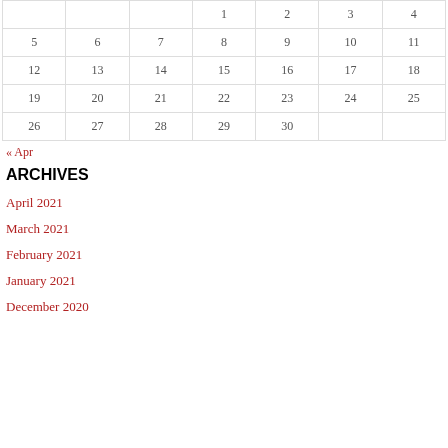|  |  |  | 1 | 2 | 3 | 4 |
| 5 | 6 | 7 | 8 | 9 | 10 | 11 |
| 12 | 13 | 14 | 15 | 16 | 17 | 18 |
| 19 | 20 | 21 | 22 | 23 | 24 | 25 |
| 26 | 27 | 28 | 29 | 30 |  |  |
« Apr
ARCHIVES
April 2021
March 2021
February 2021
January 2021
December 2020